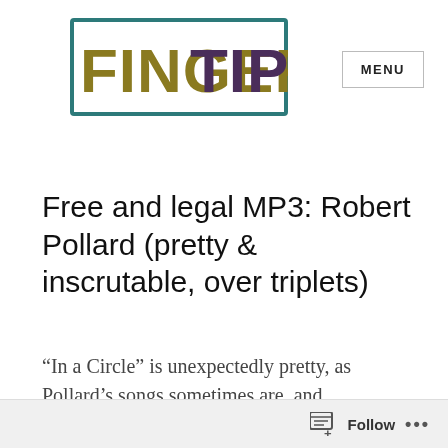[Figure (logo): FingerTips logo — 'FINGER' in olive/dark yellow hand-drawn block letters and 'TIPS' in dark purple hand-drawn block letters, enclosed in a teal/dark-teal rectangular border]
MENU
Free and legal MP3: Robert Pollard (pretty & inscrutable, over triplets)
“In a Circle” is unexpectedly pretty, as Pollard’s songs sometimes are, and incomprehensible, as his songs pretty
Follow ...